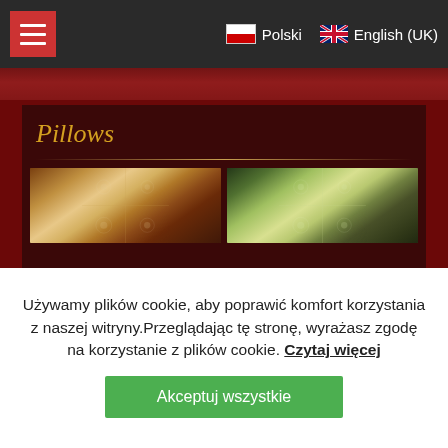≡  Polski  English (UK)
Pillows
[Figure (photo): Two decorative folk-art pillows with floral embroidery patterns — left pillow has warm red/cream tones, right pillow has green/cream tones]
Używamy plików cookie, aby poprawić komfort korzystania z naszej witryny.Przeglądając tę stronę, wyrażasz zgodę na korzystanie z plików cookie. Czytaj więcej
Akceptuj wszystkie